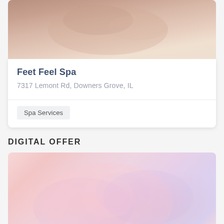[Figure (photo): Top portion of a spa massage photo showing hands performing a back massage, warm skin tones with beige/tan background]
Feet Feel Spa
7317 Lemont Rd, Downers Grove, IL
Spa Services
DIGITAL OFFER
[Figure (photo): Soft pink and lavender toned spa image with blurred floral or hand elements, pastel gradient background]